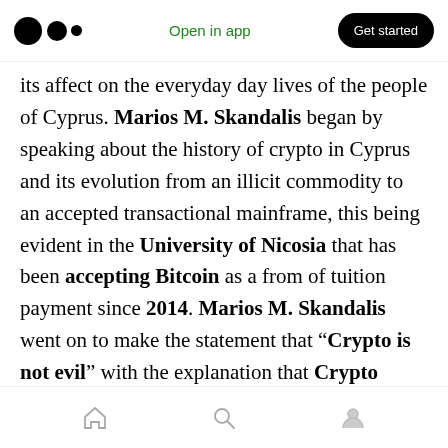Medium logo | Open in app | Get started
its affect on the everyday day lives of the people of Cyprus. Marios M. Skandalis began by speaking about the history of crypto in Cyprus and its evolution from an illicit commodity to an accepted transactional mainframe, this being evident in the University of Nicosia that has been accepting Bitcoin as a from of tuition payment since 2014. Marios M. Skandalis went on to make the statement that “Crypto is not evil” with the explanation that Crypto transactions are becoming more efficient than traditional financial transactions. Cyprus’s banking system is firmly on its way to being the
Home | Search | Profile